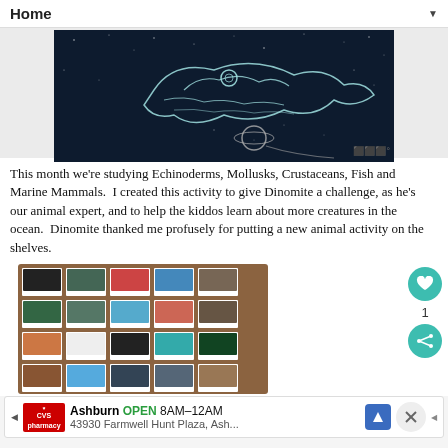Home
[Figure (illustration): Dark navy/space-themed illustration of a frog or creature with star-like dots and a planet, drawn in white line art against a dark background.]
This month we're studying Echinoderms, Mollusks, Crustaceans, Fish and Marine Mammals.  I created this activity to give Dinomite a challenge, as he's our animal expert, and to help the kiddos learn about more creatures in the ocean.  Dinomite thanked me profusely for putting a new animal activity on the shelves.
[Figure (photo): Photo of animal classification cards laid out in rows on a wooden surface. Cards show various ocean animals with photos and labels, arranged in 5 rows of 5 cards each.]
Ashburn  OPEN  8AM–12AM
43930 Farmwell Hunt Plaza, Ash...